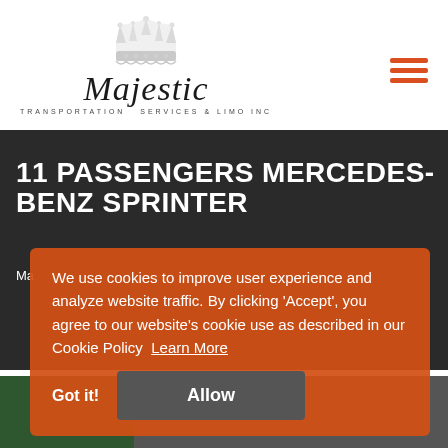[Figure (logo): Majestic Transportation Services & Limo Inc logo with crown icon and cursive text]
11 PASSENGERS MERCEDES-BENZ SPRINTER
Ma
We use cookies to improve user experience and analyze website traffic. By clicking 'Accept', you agree to our website's cookie use as described in our Cookie Policy  Learn More
Got it!   Allow
[Figure (photo): Bottom strip showing van/sprinter vehicle exterior]